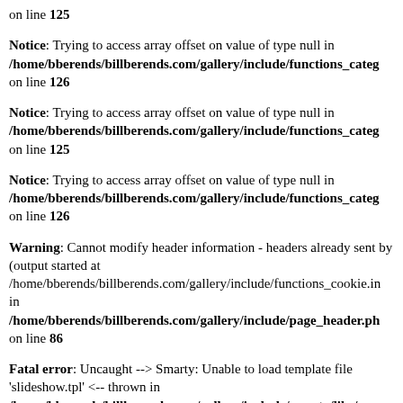on line 125
Notice: Trying to access array offset on value of type null in /home/bberends/billberends.com/gallery/include/functions_categ on line 126
Notice: Trying to access array offset on value of type null in /home/bberends/billberends.com/gallery/include/functions_categ on line 125
Notice: Trying to access array offset on value of type null in /home/bberends/billberends.com/gallery/include/functions_categ on line 126
Warning: Cannot modify header information - headers already sent by (output started at /home/bberends/billberends.com/gallery/include/functions_cookie.in in /home/bberends/billberends.com/gallery/include/page_header.ph on line 86
Fatal error: Uncaught --> Smarty: Unable to load template file 'slideshow.tpl' <-- thrown in /home/bberends/billberends.com/gallery/include/smarty/libs/sysp on line 139